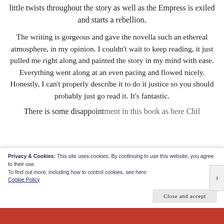little twists throughout the story as well as the Empress is exiled and starts a rebellion.
The writing is gorgeous and gave the novella such an ethereal atmosphere, in my opinion. I couldn't wait to keep reading, it just pulled me right along and painted the story in my mind with ease. Everything went along at an even pacing and flowed nicely. Honestly, I can't properly describe it to do it justice so you should probably just go read it. It's fantastic.
There is some dissap... in this book as here Chil...
Privacy & Cookies: This site uses cookies. By continuing to use this website, you agree to their use.
To find out more, including how to control cookies, see here:
Cookie Policy